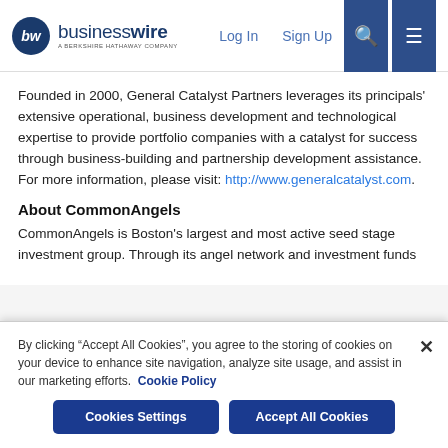businesswire — A Berkshire Hathaway Company | Log In | Sign Up
Founded in 2000, General Catalyst Partners leverages its principals' extensive operational, business development and technological expertise to provide portfolio companies with a catalyst for success through business-building and partnership development assistance. For more information, please visit: http://www.generalcatalyst.com.
About CommonAngels
CommonAngels is Boston's largest and most active seed stage investment group. Through its angel network and investment funds
By clicking "Accept All Cookies", you agree to the storing of cookies on your device to enhance site navigation, analyze site usage, and assist in our marketing efforts. Cookie Policy
Cookies Settings | Accept All Cookies